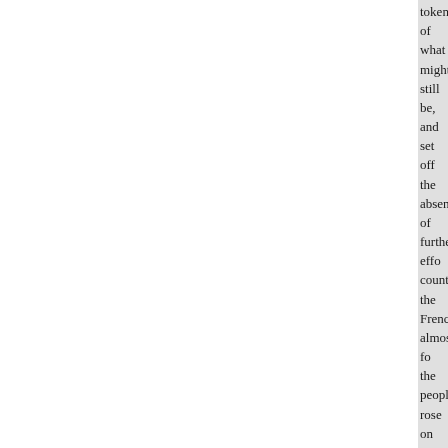token of what might still be, and set off the absence of further effort in that country the Frenchmen almost fo the people rose on the estates, th outraged, and destroyed; they bu himself title-deeds, all the relics money and utterly across; ousted borrowed from the great men wh and had, like our Charles II., a ce king," him which won the popul to the authority of the Louis XV. driven to Paris from Versailles by hungry, unkempt folk, who had l of mis. down in consequence of support of that ignoble royal gua tho courts of bad princes, the peo turned and listened to the voice o people left the who told them of with them was

    80 great in burdens for ever. M medium ceased almost entirely. Marquis de Mirabeau, who at on and more denonncer of the old o the king who was now beholdin